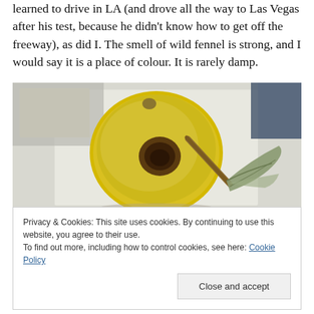learned to drive in LA (and drove all the way to Las Vegas after his test, because he didn't know how to get off the freeway), as did I. The smell of wild fennel is strong, and I would say it is a place of colour. It is rarely damp.
[Figure (photo): Close-up photo of a yellow quince fruit with a brown blossom end, accompanied by a dried leaf, on a light background.]
Privacy & Cookies: This site uses cookies. By continuing to use this website, you agree to their use.
To find out more, including how to control cookies, see here: Cookie Policy